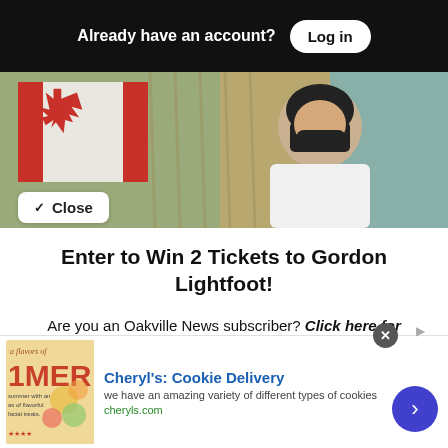Already have an account? Log in
[Figure (photo): Photo of a woman wearing a black mask, white jacket, in front of a Canadian flag and gold curtains]
Close
Enter to Win 2 Tickets to Gordon Lightfoot!
Are you an Oakville News subscriber? Click here for contest rules to win 2 free tickets to Gordon Lightfoot on October 15th!
Not a subscriber? Subscribe below now.
[Figure (infographic): Advertisement for Cheryl's Cookie Delivery with logo image, text, and a blue circular arrow button]